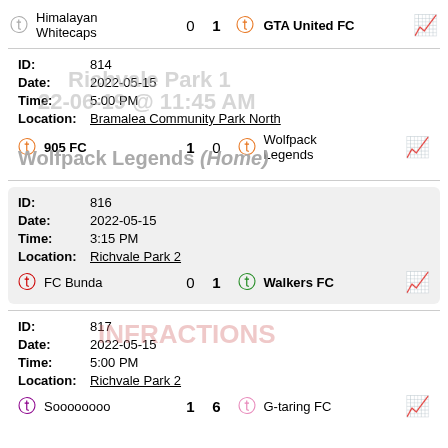Himalayan Whitecaps 0 1 GTA United FC
ID: 814
Date: 2022-05-15
Time: 5:00 PM
Location: Bramalea Community Park North
905 FC 1 0 Wolfpack Legends
Wolfpack Legends (Home)
ID: 816
Date: 2022-05-15
Time: 3:15 PM
Location: Richvale Park 2
FC Bunda 0 1 Walkers FC
ID: 817
Date: 2022-05-15
Time: 5:00 PM
Location: Richvale Park 2
Soooooooo 1 6 G-taring FC